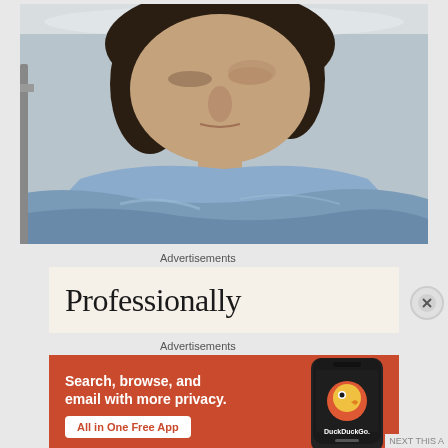[Figure (photo): A woman lying in a hospital bed with her eyes mostly closed, appearing swollen/injured around the eye area. She is wearing a light blue hospital gown and covered with a blue blanket. She has long dark wavy hair and is resting on a white pillow.]
Advertisements
[Figure (screenshot): Advertisement with beige/cream background showing the word 'Professionally' in large serif font, partially cut off.]
Advertisements
[Figure (screenshot): DuckDuckGo advertisement on orange-red background. Text reads: 'Search, browse, and email with more privacy. All in One Free App' with a DuckDuckGo logo on a phone mockup on the right side.]